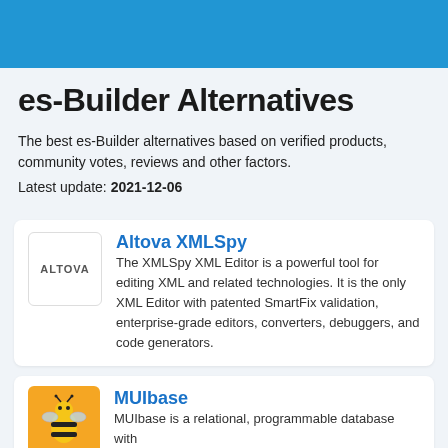es-Builder Alternatives
The best es-Builder alternatives based on verified products, community votes, reviews and other factors.
Latest update: 2021-12-06
Altova XMLSpy
The XMLSpy XML Editor is a powerful tool for editing XML and related technologies. It is the only XML Editor with patented SmartFix validation, enterprise-grade editors, converters, debuggers, and code generators.
MUIbase
MUIbase is a relational, programmable database with